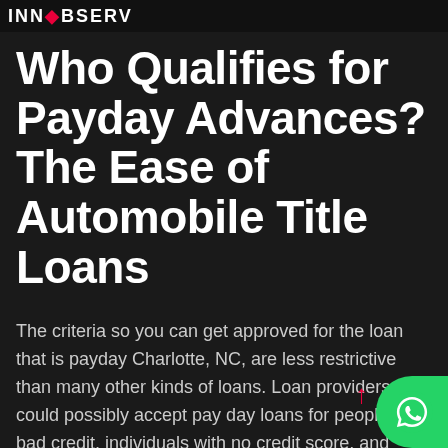INNOBSERV
Who Qualifies for Payday Advances? The Ease of Automobile Title Loans
The criteria so you can get approved for the loan that is payday Charlotte, NC, are less restrictive than many other kinds of loans. Loan providers could possibly accept pay day loans for people who bad credit, individuals with no credit score, and